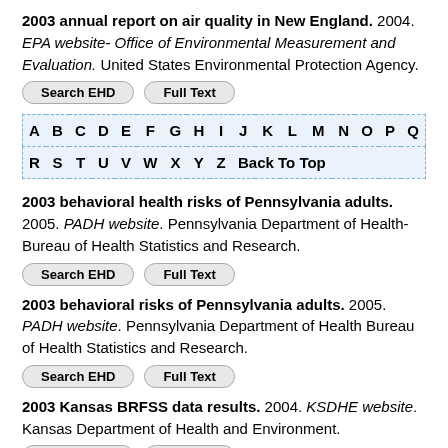2003 annual report on air quality in New England. 2004. EPA website- Office of Environmental Measurement and Evaluation. United States Environmental Protection Agency.
Search EHD | Full Text
| A | B | C | D | E | F | G | H | I | J | K | L | M | N | O | P | Q |
| --- | --- | --- | --- | --- | --- | --- | --- | --- | --- | --- | --- | --- | --- | --- | --- | --- |
| R | S | T | U | V | W | X | Y | Z | Back To Top |  |  |  |  |  |  |  |
2003 behavioral health risks of Pennsylvania adults. 2005. PADH website. Pennsylvania Department of Health- Bureau of Health Statistics and Research.
Search EHD | Full Text
2003 behavioral risks of Pennsylvania adults. 2005. PADH website. Pennsylvania Department of Health Bureau of Health Statistics and Research.
Search EHD | Full Text
2003 Kansas BRFSS data results. 2004. KSDHE website. Kansas Department of Health and Environment.
Search EHD | Full Text
2003 Massachusetts youth risk behavior survey results. 2004.